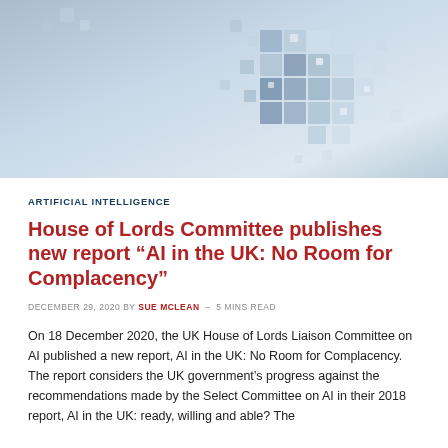[Figure (illustration): Abstract 3D pixel/cube dispersion illustration on grey-blue gradient background, representing artificial intelligence or data]
ARTIFICIAL INTELLIGENCE
House of Lords Committee publishes new report “AI in the UK: No Room for Complacency”
DECEMBER 29, 2020 by SUE MCLEAN - 5 MINS READ
On 18 December 2020, the UK House of Lords Liaison Committee on AI published a new report, AI in the UK: No Room for Complacency. The report considers the UK government’s progress against the recommendations made by the Select Committee on AI in their 2018 report, AI in the UK: ready, willing and able? The